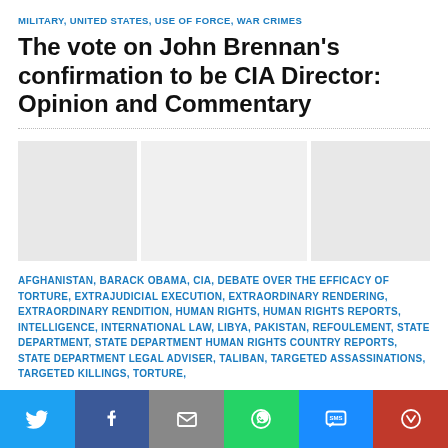MILITARY, UNITED STATES, USE OF FORCE, WAR CRIMES
The vote on John Brennan's confirmation to be CIA Director: Opinion and Commentary
[Figure (photo): Three placeholder image panels side by side]
AFGHANISTAN, BARACK OBAMA, CIA, DEBATE OVER THE EFFICACY OF TORTURE, EXTRAJUDICIAL EXECUTION, EXTRAORDINARY RENDERING, EXTRAORDINARY RENDITION, HUMAN RIGHTS, HUMAN RIGHTS REPORTS, INTELLIGENCE, INTERNATIONAL LAW, LIBYA, PAKISTAN, REFOULEMENT, STATE DEPARTMENT, STATE DEPARTMENT HUMAN RIGHTS COUNTRY REPORTS, STATE DEPARTMENT LEGAL ADVISER, TALIBAN, TARGETED ASSASSINATIONS, TARGETED KILLINGS, TORTURE,
Social share buttons: Twitter, Facebook, Email, WhatsApp, SMS, More